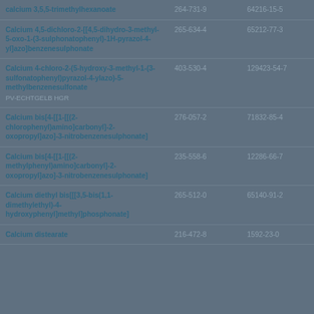| Name | EC Number | CAS Number |
| --- | --- | --- |
| calcium 3,5,5-trimethylhexanoate | 264-731-9 | 64216-15-5 |
| Calcium 4,5-dichloro-2-[[4,5-dihydro-3-methyl-5-oxo-1-(3-sulphonatophenyl)-1H-pyrazol-4-yl]azo]benzenesulphonate | 265-634-4 | 65212-77-3 |
| Calcium 4-chloro-2-(5-hydroxy-3-methyl-1-(3-sulfonatophenyl)pyrazol-4-ylazo)-5-methylbenzenesulfonate
PV-ECHTGELB HGR | 403-530-4 | 129423-54-7 |
| Calcium bis[4-[[1-[[(2-chlorophenyl)amino]carbonyl]-2-oxopropyl]azo]-3-nitrobenzenesulphonate] | 276-057-2 | 71832-85-4 |
| Calcium bis[4-[[1-[[(2-methylphenyl)amino]carbonyl]-2-oxopropyl]azo]-3-nitrobenzenesulphonate] | 235-558-6 | 12286-66-7 |
| Calcium diethyl bis[[[3,5-bis(1,1-dimethylethyl)-4-hydroxyphenyl]methyl]phosphonate] | 265-512-0 | 65140-91-2 |
| Calcium distearate | 216-472-8 | 1592-23-0 |